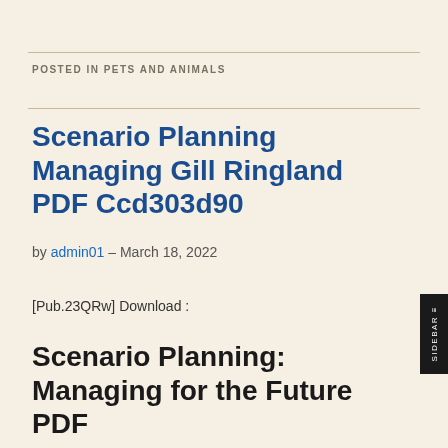POSTED IN PETS AND ANIMALS
Scenario Planning Managing Gill Ringland PDF Ccd303d90
by admin01 – March 18, 2022
[Pub.23QRw] Download :
Scenario Planning: Managing for the Future PDF